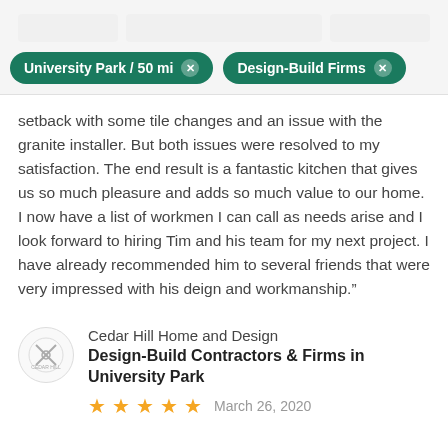University Park / 50 mi   Design-Build Firms
setback with some tile changes and an issue with the granite installer. But both issues were resolved to my satisfaction. The end result is a fantastic kitchen that gives us so much pleasure and adds so much value to our home. I now have a list of workmen I can call as needs arise and I look forward to hiring Tim and his team for my next project. I have already recommended him to several friends that were very impressed with his deign and workmanship.”
Cedar Hill Home and Design
Design-Build Contractors & Firms in University Park
March 26, 2020